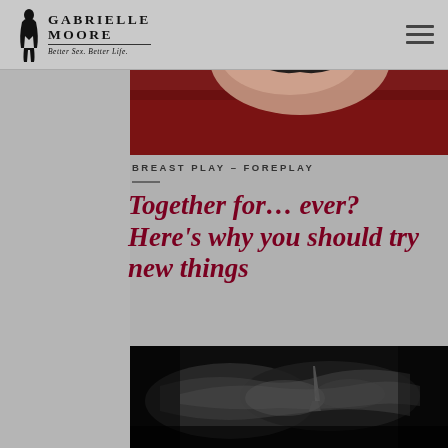Gabrielle Moore — Better Sex. Better Life.
[Figure (photo): Close-up photo of a woman in black lingerie on a red background, cropped to show torso.]
BREAST PLAY – FOREPLAY
Together for... ever? Here's why you should try new things
[Figure (photo): Black and white photo of an intimate couple, grayscale romantic scene.]